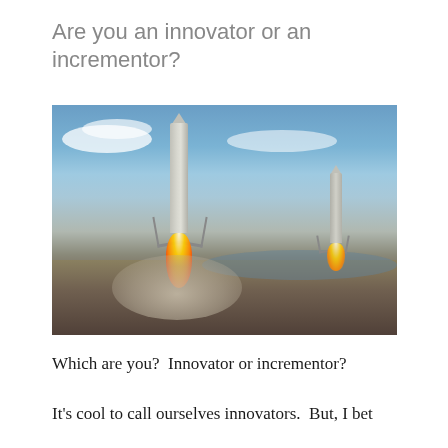Are you an innovator or an incrementor?
[Figure (photo): Two SpaceX Falcon Heavy side boosters landing simultaneously with rocket exhaust flames and smoke clouds, blue sky with clouds in background, landing pad terrain visible.]
Which are you?  Innovator or incrementor?
It's cool to call ourselves innovators.  But, I bet